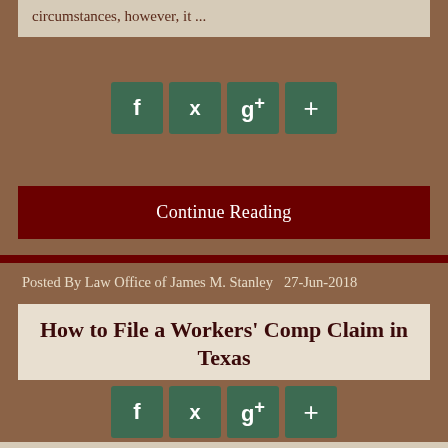circumstances, however, it …
[Figure (other): Social sharing icons: Facebook (f), Twitter (bird), Google+ (g+), and plus (+) buttons in dark green squares]
Continue Reading
Posted By Law Office of James M. Stanley  27-Jun-2018
How to File a Workers' Comp Claim in Texas
How To File For Workers Comp To file a workers' compensation claim in Texas first you must determine whether or not your employer has workers' comp insurance since not all employers are required to carry it. Next, injured workers must …
[Figure (other): Social sharing icons: Facebook (f), Twitter (bird), Google+ (g+), and plus (+) buttons in dark green squares]